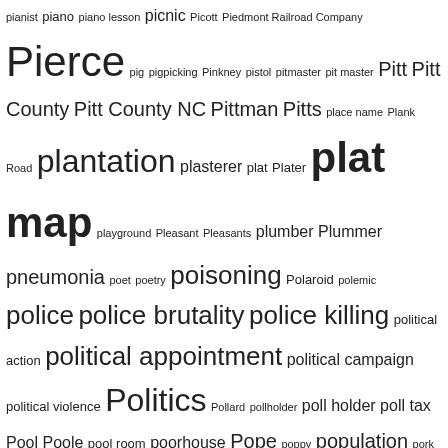pianist piano piano lesson picnic Picott Piedmont Railroad Company Pierce pig pigpicking Pinkney pistol pitmaster pit master Pitt Pitt County Pitt County NC Pittman Pitts place name Plank Road plantation plasterer plat Plater plat map playground Pleasant Pleasants plumber Plummer pneumonia poet poetry poisoning Polaroid polemic police police brutality police killing political action political appointment political campaign political violence Politics Pollard pollholder poll holder poll tax Pool Poole pool room poorhouse Pope poppy population pork porter portrait posse postal service postcard poster postmaster post office potter's field Pouncey Powell power pole practical nurse prayer preacher predator pregnancy preliminary hearing Presbyterian church preservation Preservation North Carolina Preservation of Wilson presidential election Presidents Day presiding elder press presser pressing club pressing shop Price Pridgen primer Primitive Baptist Primitive Baptist Church Prince Prince Hall Masons principal prison prison camp prisoner prisoner abuse Pritchitt Privett privy prize prize drawing